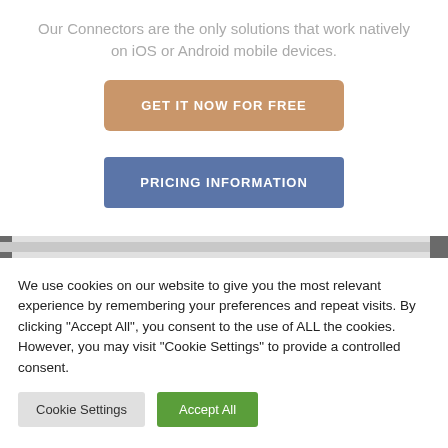Our Connectors are the only solutions that work natively on iOS or Android mobile devices.
GET IT NOW FOR FREE
PRICING INFORMATION
We use cookies on our website to give you the most relevant experience by remembering your preferences and repeat visits. By clicking "Accept All", you consent to the use of ALL the cookies. However, you may visit "Cookie Settings" to provide a controlled consent.
Cookie Settings
Accept All